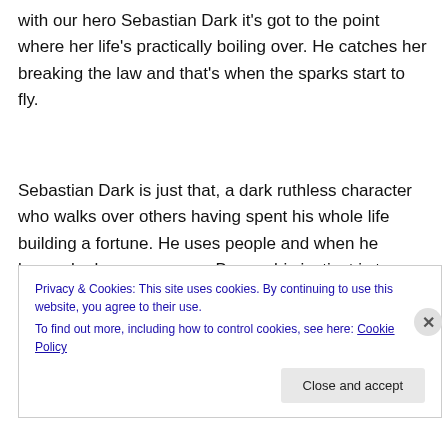with our hero Sebastian Dark it's got to the point where her life's practically boiling over. He catches her breaking the law and that's when the sparks start to fly.
Sebastian Dark is just that, a dark ruthless character who walks over others having spent his whole life building a fortune. He uses people and when he knows he has power over Breeze his instinct is to use her. She will be his
Privacy & Cookies: This site uses cookies. By continuing to use this website, you agree to their use.
To find out more, including how to control cookies, see here: Cookie Policy